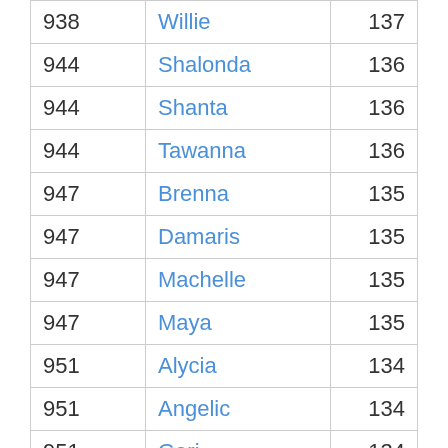| Rank | Name | Count |
| --- | --- | --- |
| 938 | Willie | 137 |
| 944 | Shalonda | 136 |
| 944 | Shanta | 136 |
| 944 | Tawanna | 136 |
| 947 | Brenna | 135 |
| 947 | Damaris | 135 |
| 947 | Machelle | 135 |
| 947 | Maya | 135 |
| 951 | Alycia | 134 |
| 951 | Angelic | 134 |
| 951 | Geri | 134 |